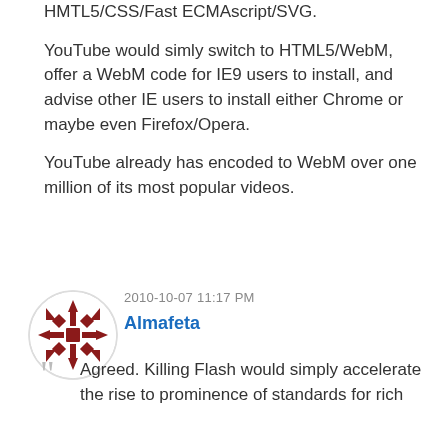HMTL5/CSS/Fast ECMAscript/SVG.
YouTube would simly switch to HTML5/WebM, offer a WebM code for IE9 users to install, and advise other IE users to install either Chrome or maybe even Firefox/Opera.
YouTube already has encoded to WebM over one million of its most popular videos.
2010-10-07 11:17 PM
Almafeta
[Figure (illustration): Circular avatar icon with dark red geometric/snowflake pattern on white background]
Agreed. Killing Flash would simply accelerate the rise to prominence of standards for rich